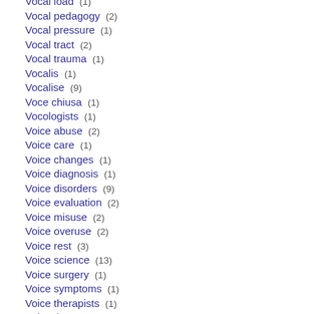Vocal load  (1)
Vocal pedagogy  (2)
Vocal pressure  (1)
Vocal tract  (2)
Vocal trauma  (1)
Vocalis  (1)
Vocalise  (9)
Voce chiusa  (1)
Vocologists  (1)
Voice abuse  (2)
Voice care  (1)
Voice changes  (1)
Voice diagnosis  (1)
Voice disorders  (9)
Voice evaluation  (2)
Voice misuse  (2)
Voice overuse  (2)
Voice rest  (3)
Voice science  (13)
Voice surgery  (1)
Voice symptoms  (1)
Voice therapists  (1)
Voice therapy  (5)